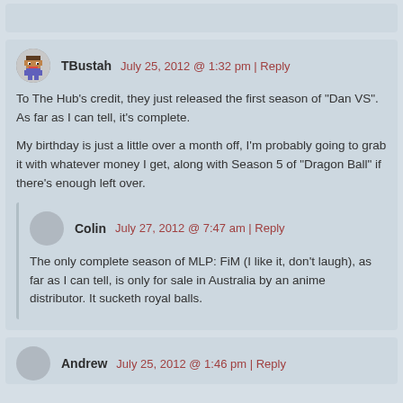[top comment strip, partial]
TBustah   July 25, 2012 @ 1:32 pm | Reply
To The Hub's credit, they just released the first season of "Dan VS". As far as I can tell, it's complete.

My birthday is just a little over a month off, I'm probably going to grab it with whatever money I get, along with Season 5 of "Dragon Ball" if there's enough left over.
Colin   July 27, 2012 @ 7:47 am | Reply
The only complete season of MLP: FiM (I like it, don't laugh), as far as I can tell, is only for sale in Australia by an anime distributor. It sucketh royal balls.
Andrew   July 25, 2012 @ 1:46 pm | Reply